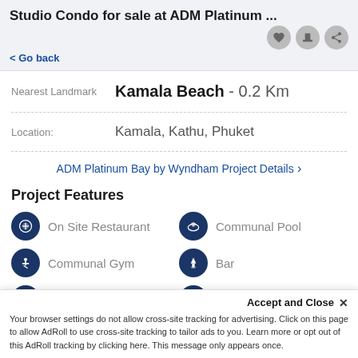Studio Condo for sale at ADM Platinum ...
< Go back
| Label | Value |
| --- | --- |
| Nearest Landmark | Kamala Beach - 0.2 Km |
| Location: | Kamala, Kathu, Phuket |
ADM Platinum Bay by Wyndham Project Details >
Project Features
On Site Restaurant
Communal Pool
Communal Gym
Bar
Clubhouse
24H Security
CCTV (Video
Car Parking
Accept and Close ×
Your browser settings do not allow cross-site tracking for advertising. Click on this page to allow AdRoll to use cross-site tracking to tailor ads to you. Learn more or opt out of this AdRoll tracking by clicking here. This message only appears once.